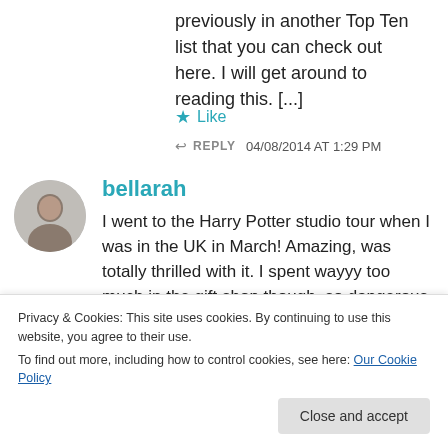previously in another Top Ten list that you can check out here. I will get around to reading this. [...]
Like
REPLY  04/08/2014 AT 1:29 PM
bellarah
I went to the Harry Potter studio tour when I was in the UK in March! Amazing, was totally thrilled with it. I spent wayyy too much in the gift shop though. so dangerous to a Potter
Privacy & Cookies: This site uses cookies. By continuing to use this website, you agree to their use. To find out more, including how to control cookies, see here: Our Cookie Policy